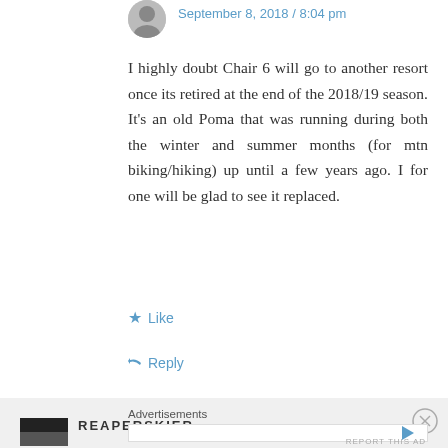September 8, 2018 / 8:04 pm
I highly doubt Chair 6 will go to another resort once its retired at the end of the 2018/19 season. It's an old Poma that was running during both the winter and summer months (for mtn biking/hiking) up until a few years ago. I for one will be glad to see it replaced.
Like
Reply
REAPERSKIER
Advertisements
REPORT THIS AD